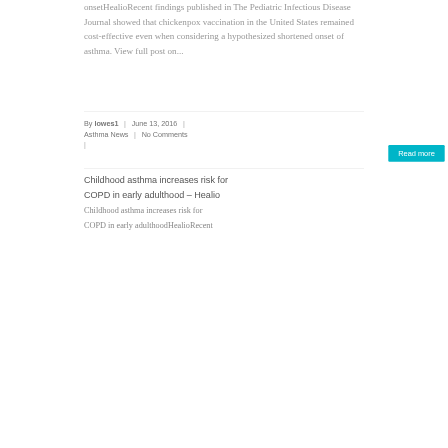onsetHealioRecent findings published in The Pediatric Infectious Disease Journal showed that chickenpox vaccination in the United States remained cost-effective even when considering a hypothesized shortened onset of asthma. View full post on...
By lowes1  |  June 13, 2016  |  Asthma News  |  No Comments
|
Read more
Childhood asthma increases risk for COPD in early adulthood – Healio
Childhood asthma increases risk for COPD in early adulthoodHealioRecent